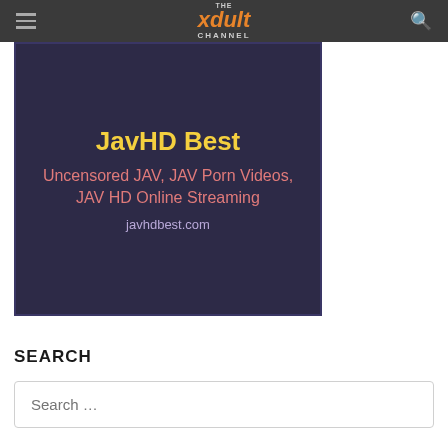The xdult Channel
[Figure (screenshot): Ad banner for JavHD Best website with dark purple background showing title 'JavHD Best', subtitle 'Uncensored JAV, JAV Porn Videos, JAV HD Online Streaming', and URL 'javhdbest.com']
SEARCH
Search …